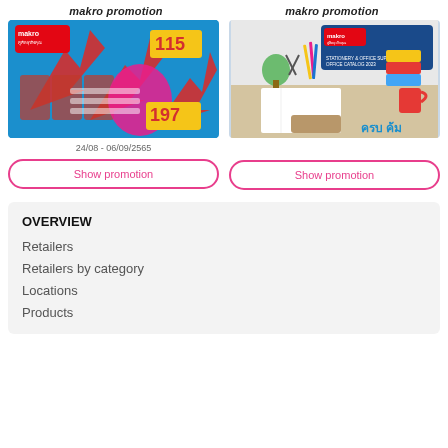makro promotion
makro promotion
[Figure (photo): Makro promotion catalog cover showing food products on blue background with red arrows and prices 115 and 197]
[Figure (photo): Makro office catalog cover showing office supplies on a desk with the text OFFICE CATALOG 2023 and Thai text]
24/08 - 06/09/2565
Show promotion
Show promotion
OVERVIEW
Retailers
Retailers by category
Locations
Products